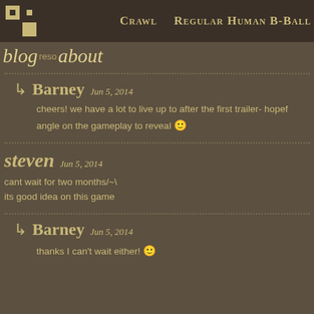CRAWL   REGULAR HUMAN B-BALL
blog about
Barney Jun 5, 2014
cheers! we have a lot to live up to after the first trailer- hopef angle on the gameplay to reveal 🙂
steven Jun 5, 2014
cant wait for two months/~\
its good idea on this game
Barney Jun 5, 2014
thanks I can't wait either! 🙂